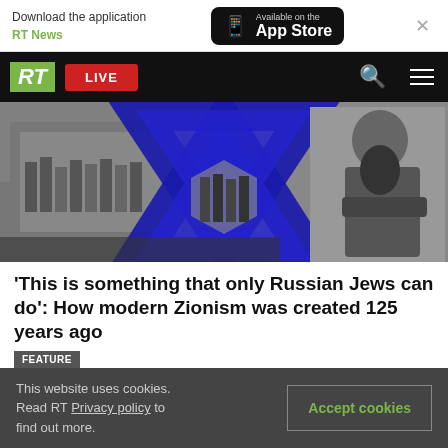Download the application RT News — Available on the App Store
[Figure (logo): RT navigation bar with green RT logo, red LIVE button, search icon, hamburger menu]
[Figure (photo): Black and white historical photo collage featuring a large blue Star of David overlaid on historical crowd images, with a bearded man in a suit standing to the right]
'This is something that only Russian Jews can do': How modern Zionism was created 125 years ago
FEATURE
This website uses cookies. Read RT Privacy policy to find out more.